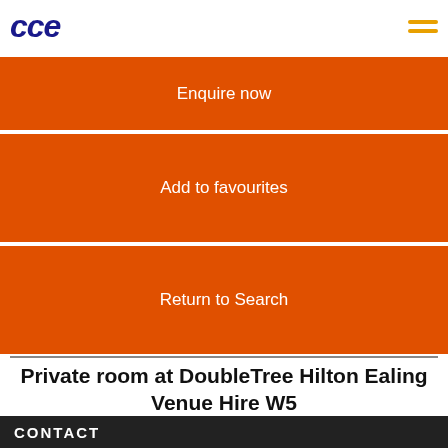CCE logo and navigation menu
Enquire now
Add to favourites
Return to Search
Private room at DoubleTree Hilton Ealing Venue Hire W5
Enquire now
CONTACT